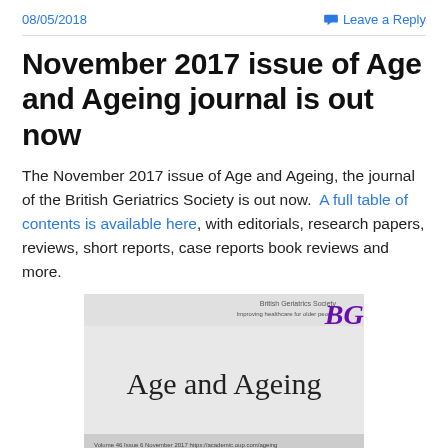08/05/2018   Leave a Reply
November 2017 issue of Age and Ageing journal is out now
The November 2017 issue of Age and Ageing, the journal of the British Geriatrics Society is out now.  A full table of contents is available here, with editorials, research papers, reviews, short reports, case reports book reviews and more.
[Figure (photo): Cover of Age and Ageing journal, Volume 46, Issue 6, November 2017, published by British Geriatrics Society. Shows the journal title 'Age and Ageing' in large serif font with BGS logo in purple.]